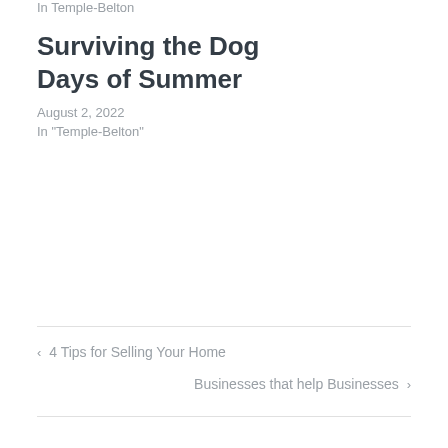In Temple-Belton
Surviving the Dog Days of Summer
August 2, 2022
In "Temple-Belton"
‹ 4 Tips for Selling Your Home
Businesses that help Businesses ›